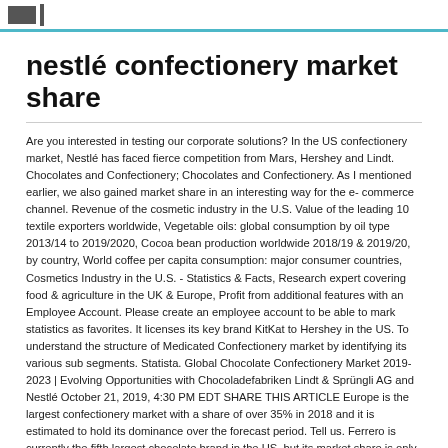[logo]
nestlé confectionery market share
Are you interested in testing our corporate solutions? In the US confectionery market, Nestlé has faced fierce competition from Mars, Hershey and Lindt. Chocolates and Confectionery; Chocolates and Confectionery. As I mentioned earlier, we also gained market share in an interesting way for the e- commerce channel. Revenue of the cosmetic industry in the U.S. Value of the leading 10 textile exporters worldwide, Vegetable oils: global consumption by oil type 2013/14 to 2019/2020, Cocoa bean production worldwide 2018/19 & 2019/20, by country, World coffee per capita consumption: major consumer countries, Cosmetics Industry in the U.S. - Statistics & Facts, Research expert covering food & agriculture in the UK & Europe, Profit from additional features with an Employee Account. Please create an employee account to be able to mark statistics as favorites. It licenses its key brand KitKat to Hershey in the US. To understand the structure of Medicated Confectionery market by identifying its various sub segments. Statista. Global Chocolate Confectionery Market 2019-2023 | Evolving Opportunities with Chocoladefabriken Lindt & Sprüngli AG and Nestlé October 21, 2019, 4:30 PM EDT SHARE THIS ARTICLE Europe is the largest confectionery market with a share of over 35% in 2018 and it is estimated to hold its dominance over the forecast period. Tell us. Ferrero is currently the fifth largest chocolate brand in the US, but its market share is only around 3%, compared to Nestlé at 7.9%, Lindt & Sprüngli at 9.3%, and Mars and Hershey make up the majority of the market with 27.1% and 31.5% shares